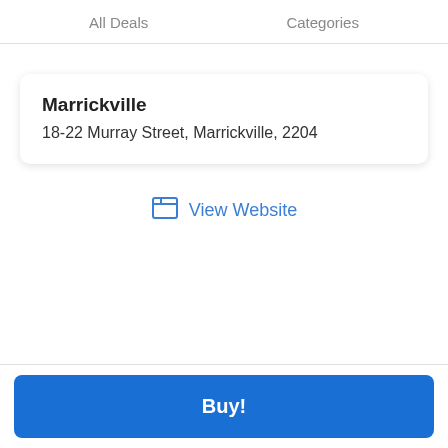All Deals    Categories
Marrickville
18-22 Murray Street, Marrickville, 2204
View Website
Buy!